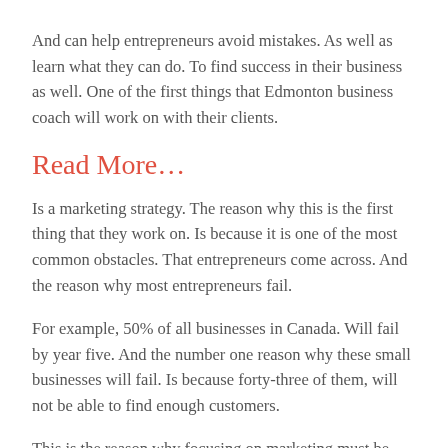And can help entrepreneurs avoid mistakes. As well as learn what they can do. To find success in their business as well. One of the first things that Edmonton business coach will work on with their clients.
Read More…
Is a marketing strategy. The reason why this is the first thing that they work on. Is because it is one of the most common obstacles. That entrepreneurs come across. And the reason why most entrepreneurs fail.
For example, 50% of all businesses in Canada. Will fail by year five. And the number one reason why these small businesses will fail. Is because forty-three of them, will not be able to find enough customers.
This is the reason why focusing on marketing must be first. Because doing that alone, can help most businesses. Avoid failing, and succeed instead. Something else that